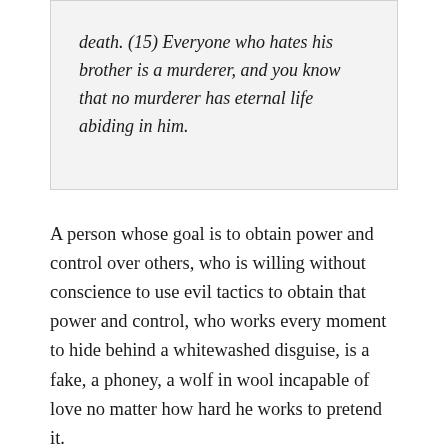death. (15) Everyone who hates his brother is a murderer, and you know that no murderer has eternal life abiding in him.
A person whose goal is to obtain power and control over others, who is willing without conscience to use evil tactics to obtain that power and control, who works every moment to hide behind a whitewashed disguise, is a fake, a phoney, a wolf in wool incapable of love no matter how hard he works to pretend it.
What are we to do with a wolf in wool that creeps in among us in the church. The answer should be obvious – expose him and put him out of the church. But that